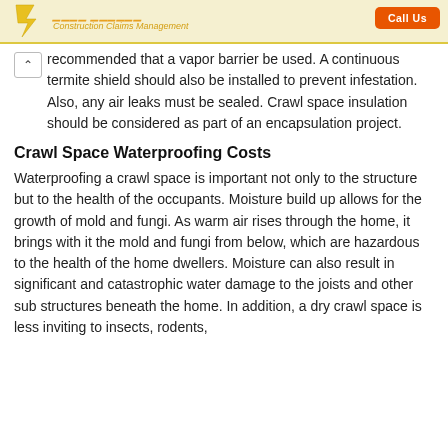Construction Claims Management
recommended that a vapor barrier be used. A continuous termite shield should also be installed to prevent infestation. Also, any air leaks must be sealed. Crawl space insulation should be considered as part of an encapsulation project.
Crawl Space Waterproofing Costs
Waterproofing a crawl space is important not only to the structure but to the health of the occupants. Moisture build up allows for the growth of mold and fungi. As warm air rises through the home, it brings with it the mold and fungi from below, which are hazardous to the health of the home dwellers. Moisture can also result in significant and catastrophic water damage to the joists and other sub structures beneath the home. In addition, a dry crawl space is less inviting to insects, rodents,